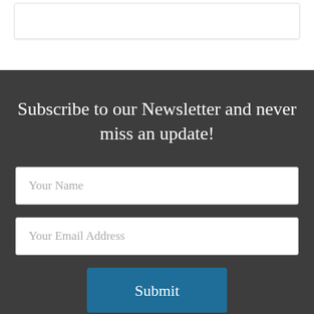Subscribe to our Newsletter and never miss an update!
Your Name
Your Email Address
Submit